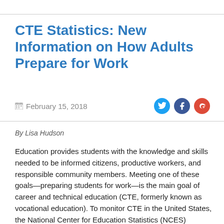CTE Statistics: New Information on How Adults Prepare for Work
February 15, 2018
By Lisa Hudson
Education provides students with the knowledge and skills needed to be informed citizens, productive workers, and responsible community members. Meeting one of these goals—preparing students for work—is the main goal of career and technical education (CTE, formerly known as vocational education). To monitor CTE in the United States, the National Center for Education Statistics (NCES) produces a comprehensive set of statistical data on CTE at the secondary and postsecondary levels, as well as on adult preparation for work. These statistics, and related reports, are available